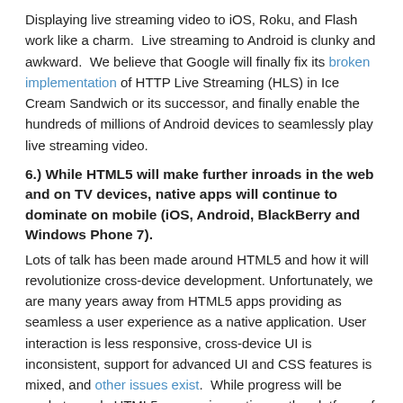Displaying live streaming video to iOS, Roku, and Flash work like a charm.  Live streaming to Android is clunky and awkward.  We believe that Google will finally fix its broken implementation of HTTP Live Streaming (HLS) in Ice Cream Sandwich or its successor, and finally enable the hundreds of millions of Android devices to seamlessly play live streaming video.
6.) While HTML5 will make further inroads in the web and on TV devices, native apps will continue to dominate on mobile (iOS, Android, BlackBerry and Windows Phone 7).
Lots of talk has been made around HTML5 and how it will revolutionize cross-device development. Unfortunately, we are many years away from HTML5 apps providing as seamless a user experience as a native application. User interaction is less responsive, cross-device UI is inconsistent, support for advanced UI and CSS features is mixed, and other issues exist.  While progress will be made towards HTML5 surpassing native as the platform of choice, 2012 will not be the year of the tipping point.
Posted in Uncategorized | Leave a reply